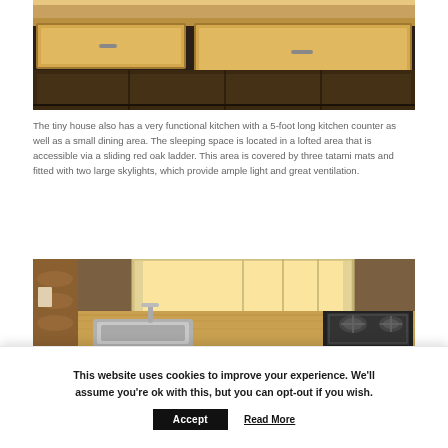[Figure (photo): Wooden drawers and shelving underneath a lofted bed in a tiny house, made of light pine wood, on dark tile floor. Two open drawers visible — one smaller on the left, one larger on the right.]
The tiny house also has a very functional kitchen with a 5-foot long kitchen counter as well as a small dining area. The sleeping space is located in a lofted area that is accessible via a sliding red oak ladder. This area is covered by three tatami mats and fitted with two large skylights, which provide ample light and great ventilation.
[Figure (photo): Interior of a tiny house kitchen showing a stainless steel sink with chrome faucet on a wooden countertop, a window letting in natural light, and a two-burner gas stove on the right side of the wooden counter.]
This website uses cookies to improve your experience. We'll assume you're ok with this, but you can opt-out if you wish.